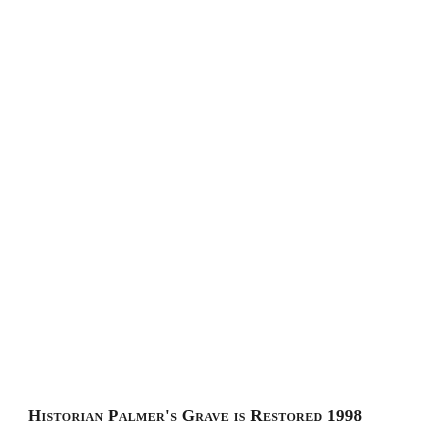Historian Palmer's Grave is Restored 1998